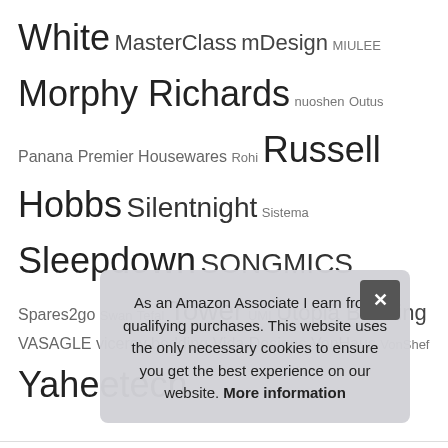KitchenCraft Russell Hobbs Maison & White MasterClass mDesign MIULEE Morphy Richards nuoshen Outus Panana Premier Housewares Rohi Russell Hobbs Silentnight Sistema Sleepdown SONGMICS Spares2go Swan Tefal Tower UMI Utopia Bedding VASAGLE viceroy bedding Vida Designs VonHaus VonShef Yaheetech
Recent Posts
Top 9 Signs At Home UK – Signs & Plaques
T...
T...
T...
Top 10 Gold Hanging Photo Frame UK – Wall & Tabletop
As an Amazon Associate I earn from qualifying purchases. This website uses the only necessary cookies to ensure you get the best experience on our website. More information